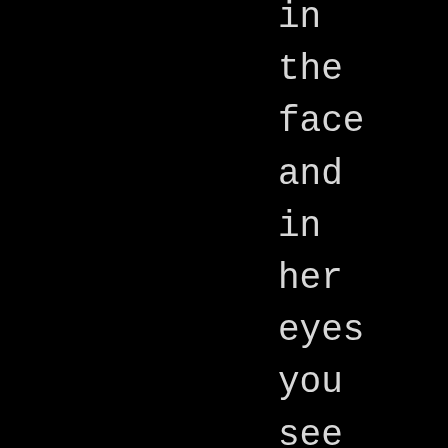in the face and in her eyes you see a spark of recognition Before saying a word, that anyway